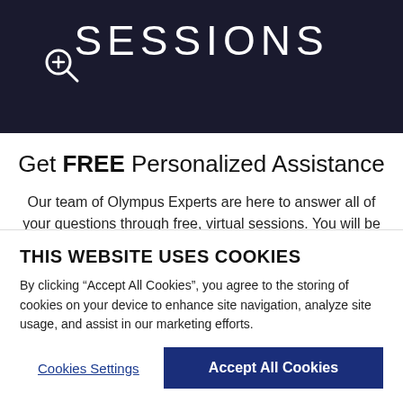[Figure (photo): Dark hero banner with 'SESSIONS' text and a zoom/magnify icon in bottom-left corner]
Get FREE Personalized Assistance
Our team of Olympus Experts are here to answer all of your questions through free, virtual sessions. You will be able to sign up for a group session tailored to a particular camera model or photography genre, where you can be inspired by being part of a
THIS WEBSITE USES COOKIES
By clicking “Accept All Cookies”, you agree to the storing of cookies on your device to enhance site navigation, analyze site usage, and assist in our marketing efforts.
Cookies Settings
Accept All Cookies